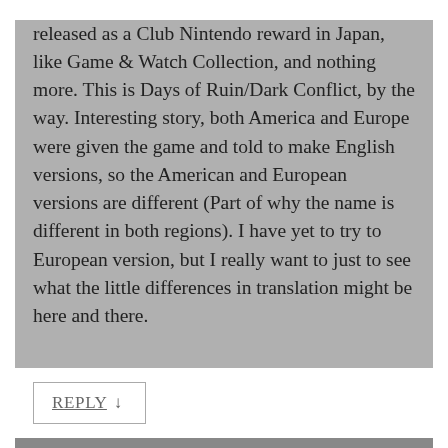released as a Club Nintendo reward in Japan, like Game & Watch Collection, and nothing more. This is Days of Ruin/Dark Conflict, by the way. Interesting story, both America and Europe were given the game and told to make English versions, so the American and European versions are different (Part of why the name is different in both regions). I have yet to try to European version, but I really want to just to see what the little differences in translation might be here and there.
REPLY ↓
Alex R  March 2, 2014 at 3:13 am
Yeah, the differences are weird. From what I saw, the EU translation was more straightforward, while the US one seemed to have been punched up a bit. Might make for an interesting thing to see on this blog; it's not often there's two simultaneous